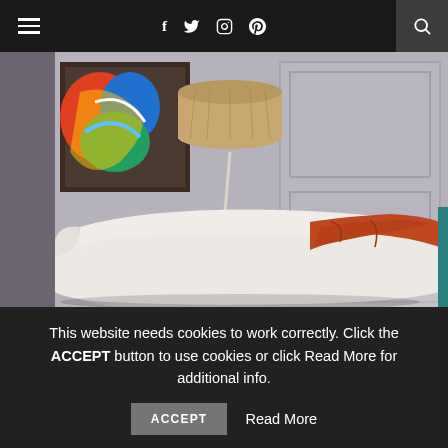Navigation bar with hamburger menu, social icons (f, Twitter, Instagram, Pinterest), and search
[Figure (photo): Interior design photo showing a white curved sofa with an orange/rust throw blanket draped over it, a wicker drum-shade floor lamp with a white heart-shaped stand, a colorful abstract painting on the wall, and grey panelled walls in the background.]
This website needs cookies to work correctly. Click the ACCEPT button to use cookies or click Read More for additional info.
ACCEPT   Read More